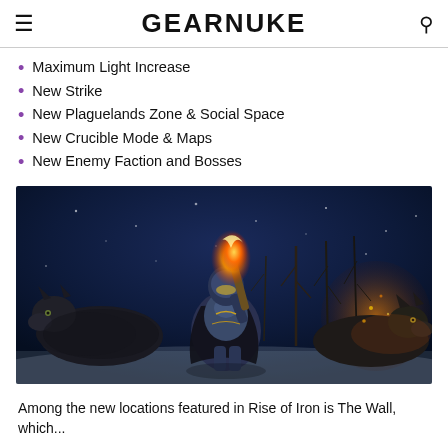GEARNUKE
Maximum Light Increase
New Strike
New Plaguelands Zone & Social Space
New Crucible Mode & Maps
New Enemy Faction and Bosses
[Figure (photo): A Destiny video game character in armored suit wielding a flaming weapon, flanked by two wolves, in a dark snowy landscape with bare trees and fire in the background.]
Among the new locations featured in Rise of Iron is The Wall, which...